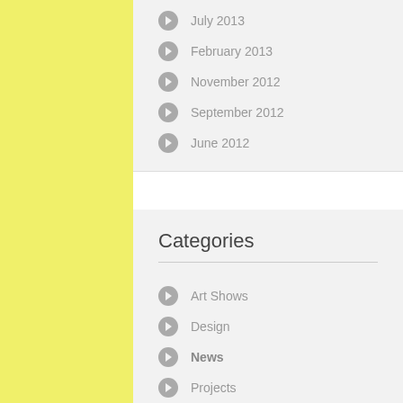July 2013
February 2013
November 2012
September 2012
June 2012
Categories
Art Shows
Design
News
Projects
Qigong
Travels